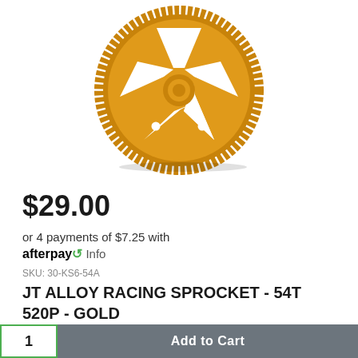[Figure (photo): Gold anodized aluminum alloy racing sprocket with 54 teeth, star-pattern cutouts and bolt holes, photographed on white background]
$29.00
or 4 payments of $7.25 with afterpay Info
SKU: 30-KS6-54A
JT ALLOY RACING SPROCKET - 54T 520P - GOLD
1  Add to Cart